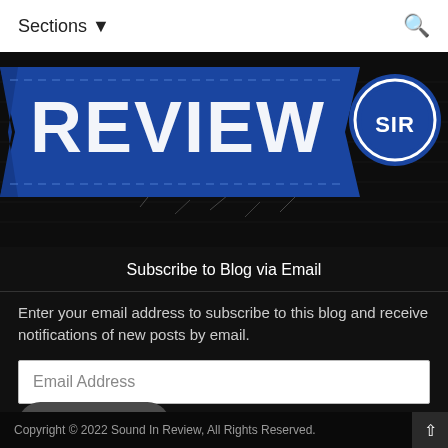Sections ▾
[Figure (logo): Sound In Review logo banner with blue ribbon and 'REVIEW' text in large bold white letters, black distressed notebook background, and a blue circle badge with 'SIR' text on the right side]
Subscribe to Blog via Email
Enter your email address to subscribe to this blog and receive notifications of new posts by email.
Email Address
Subscribe
Copyright © 2022 Sound In Review, All Rights Reserved.